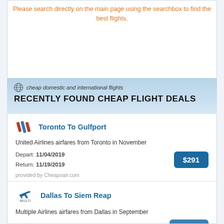Please search directly on the main page using the searchbox to find the best flights.
cheap domestic and international flights
RECENTLY FOUND CHEAP FLIGHT DEALS
Toronto To Gulfport
United Airlines airfares from Toronto in November
Depart: 11/04/2019
Return: 11/19/2019
provided by Cheapoair.com
$291
Dallas To Siem Reap
Multiple Airlines airfares from Dallas in September
Depart: 09/12/2022